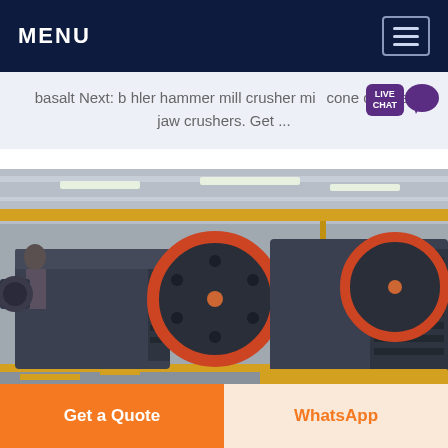MENU
basalt Next: b hler hammer mill crusher mi cone crusher jaw crushers. Get ...
[Figure (photo): Industrial jaw crusher machines on a factory floor, showing heavy dark-grey metal equipment with large red-rimmed flywheels, in a manufacturing facility with overhead cranes and yellow safety markings on the floor.]
Get a Quote    WhatsApp